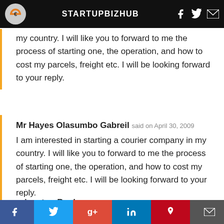STARTUPBIZHUB
my country. I will like you to forward to me the process of starting one, the operation, and how to cost my parcels, freight etc. I will be looking forward to your reply.
Mr Hayes Olasumbo Gabreil said on April 30, 2009
I am interested in starting a courier company in my country. I will like you to forward to me the process of starting one, the operation, and how to cost my parcels, freight etc. I will be looking forward to your reply.
princeton Banks said on April 30, 2009
hi, I'm very interested in starting my own courier